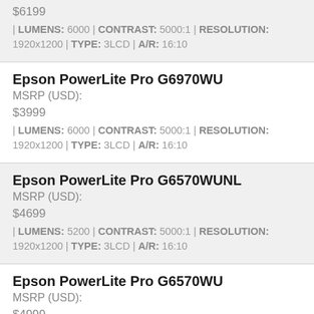$6199 | LUMENS: 6000 | CONTRAST: 5000:1 | RESOLUTION: 1920x1200 | TYPE: 3LCD | A/R: 16:10
Epson PowerLite Pro G6970WU
MSRP (USD):
$3999
| LUMENS: 6000 | CONTRAST: 5000:1 | RESOLUTION: 1920x1200 | TYPE: 3LCD | A/R: 16:10
Epson PowerLite Pro G6570WUNL
MSRP (USD):
$4699
| LUMENS: 5200 | CONTRAST: 5000:1 | RESOLUTION: 1920x1200 | TYPE: 3LCD | A/R: 16:10
Epson PowerLite Pro G6570WU
MSRP (USD):
$4999